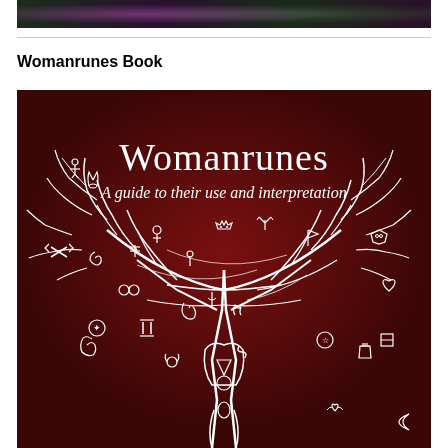[Figure (photo): Top banner image showing flowers and foliage with purple and green tones, partially visible]
Womanrunes Book
[Figure (illustration): Book cover for 'Womanrunes: A guide to their use and interpretation'. Dark maroon/brown background with a white line drawing of a tree whose branches are adorned with various womanrune symbols. The tree trunk forms the shape of a woman figure with arms raised.]